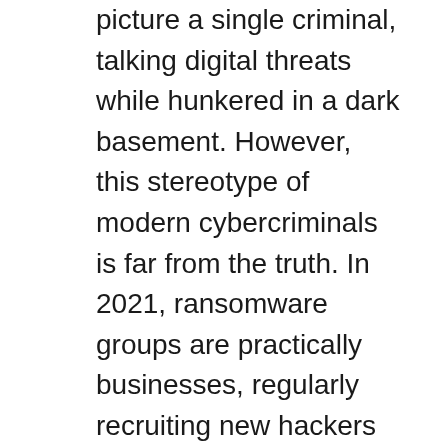picture a single criminal, talking digital threats while hunkered in a dark basement. However, this stereotype of modern cybercriminals is far from the truth. In 2021, ransomware groups are practically businesses, regularly recruiting new hackers to join criminal enterprises. Nowadays, just a handful of organizations are the perpetrators of most ransomware attacks [5]. And these shady organizations have ransomware down to a science.
Some ransomware organizations even offer customer service help desks to help victims pay the ransom and receive the decryption key. This is possible because of skyrocketing ransom demands. In fact, the average ransom payment was over USD $310,000 last year [5]. But because there's little action that can be taken after being